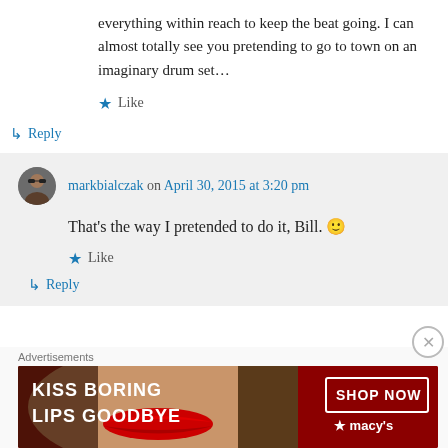everything within reach to keep the beat going. I can almost totally see you pretending to go to town on an imaginary drum set…
★ Like
↳ Reply
markbialczak on April 30, 2015 at 3:20 pm
That's the way I pretended to do it, Bill. 🙂
★ Like
↳ Reply
Advertisements
[Figure (photo): Macy's advertisement banner: 'KISS BORING LIPS GOODBYE' with SHOP NOW button and Macy's star logo, showing a woman's face with red lipstick]